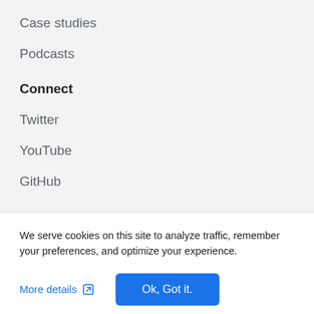Case studies
Podcasts
Connect
Twitter
YouTube
GitHub
We serve cookies on this site to analyze traffic, remember your preferences, and optimize your experience.
More details
Ok, Got it.